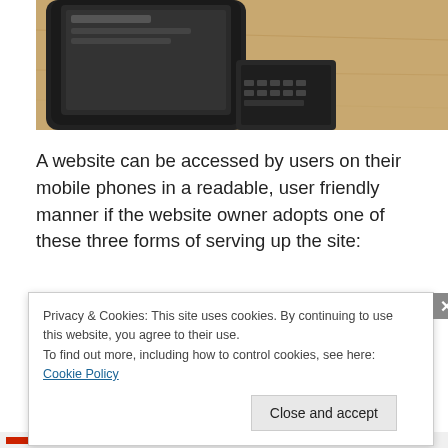[Figure (photo): Partial photo of a smartphone or tablet device on a wooden surface, only the top portion visible]
A website can be accessed by users on their mobile phones in a readable, user friendly manner if the website owner adopts one of these three forms of serving up the site:
a. Responsive design, where the same HTML and CSS adapt themselves for different screen sizes based on the type of device used to access the site. The URLs for
Privacy & Cookies: This site uses cookies. By continuing to use this website, you agree to their use.
To find out more, including how to control cookies, see here: Cookie Policy
Close and accept